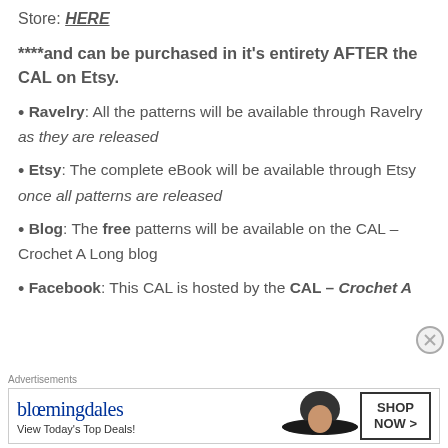Store: HERE
****and can be purchased in it's entirety AFTER the CAL on Etsy.
• Ravelry: All the patterns will be available through Ravelry as they are released
• Etsy: The complete eBook will be available through Etsy once all patterns are released
• Blog: The free patterns will be available on the CAL – Crochet A Long blog
• Facebook: This CAL is hosted by the CAL – Crochet A
[Figure (screenshot): Bloomingdale's advertisement banner: 'View Today's Top Deals!' with a woman in a wide-brim hat and 'SHOP NOW >' button]